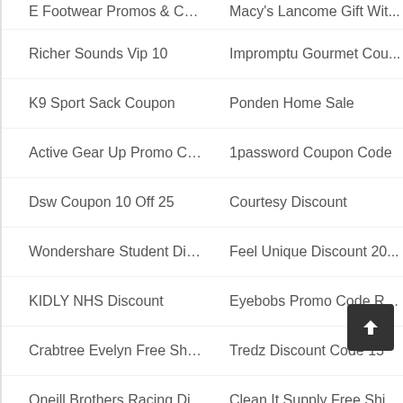E Footwear Promos & Cou...
Macy's Lancome Gift Wit...
Richer Sounds Vip 10
Impromptu Gourmet Cou...
K9 Sport Sack Coupon
Ponden Home Sale
Active Gear Up Promo Co...
1password Coupon Code
Dsw Coupon 10 Off 25
Courtesy Discount
Wondershare Student Dis...
Feel Unique Discount 20...
KIDLY NHS Discount
Eyebobs Promo Code Ret...
Crabtree Evelyn Free Ship...
Tredz Discount Code 15
Oneill Brothers Racing Di...
Clean It Supply Free Shipp...